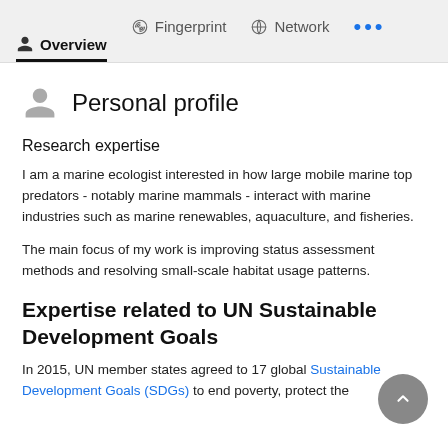Overview  Fingerprint  Network  ...
Personal profile
Research expertise
I am a marine ecologist interested in how large mobile marine top predators - notably marine mammals - interact with marine industries such as marine renewables, aquaculture, and fisheries.
The main focus of my work is improving status assessment methods and resolving small-scale habitat usage patterns.
Expertise related to UN Sustainable Development Goals
In 2015, UN member states agreed to 17 global Sustainable Development Goals (SDGs) to end poverty, protect the